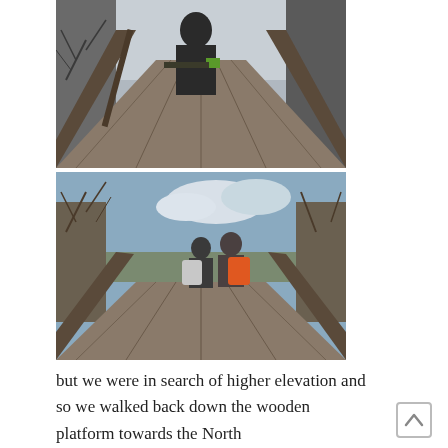[Figure (photo): A person standing on a wooden elevated platform or boardwalk, leaning on the railing, surrounded by bare winter trees. The wooden planks extend into the distance with perspective.]
[Figure (photo): Two hikers with backpacks (one white, one orange) standing on a wooden elevated platform looking out over a landscape of bare trees and a blue sky with clouds.]
but we were in search of higher elevation and so we walked back down the wooden platform towards the North